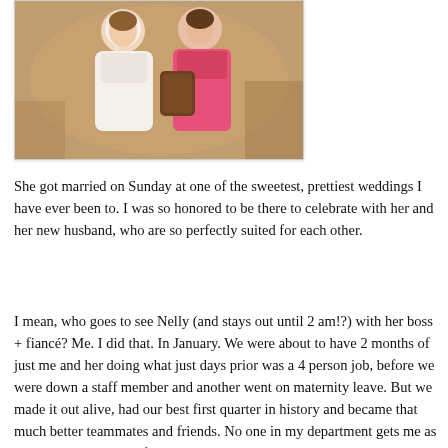[Figure (photo): Two women posing together at what appears to be a wedding reception. One is wearing white (bride) and one is wearing pink. The photo is framed with a light border.]
She got married on Sunday at one of the sweetest, prettiest weddings I have ever been to. I was so honored to be there to celebrate with her and her new husband, who are so perfectly suited for each other.
I mean, who goes to see Nelly (and stays out until 2 am!?) with her boss + fiancé? Me. I did that. In January. We were about to have 2 months of just me and her doing what just days prior was a 4 person job, before we were down a staff member and another went on maternity leave. But we made it out alive, had our best first quarter in history and became that much better teammates and friends. No one in my department gets me as well as she does and after some trying times there, it's good to be "gotten" and know someone has your back. We have laughed. We have cried. We have gently and not so gently disagreed and crossed arms and I have pouted. But I am so grateful that even at my